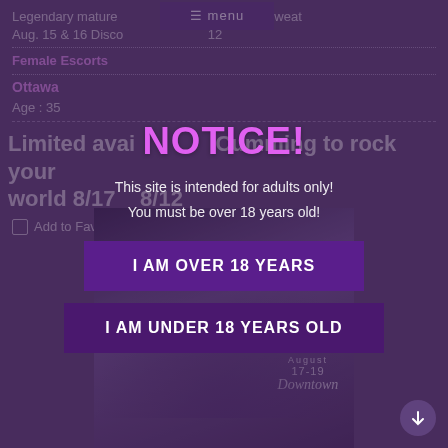Legendary mature ... to make you sweat Aug. 15 & 16 Discount Ends Aug. 12
Female Escorts
Ottawa
Age : 35
Limited availability. Cumming to rock your world 8/17 ... 8/12
Add to Favourites
NOTICE!
This site is intended for adults only!
You must be over 18 years old!
I AM OVER 18 YEARS
I AM UNDER 18 YEARS OLD
[Figure (photo): Background photo of a person with Toronto August 17-19 Downtown text overlay, shown behind an age verification modal]